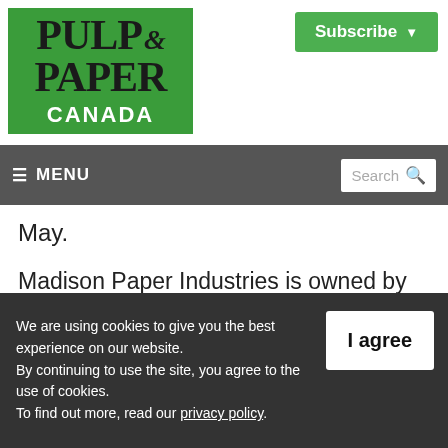[Figure (logo): Pulp & Paper Canada logo on green background]
[Figure (other): Subscribe button with dropdown arrow, green background]
≡ MENU   Search 🔍
May.
Madison Paper Industries is owned by UPM-Kymmene Inc., a Finnish forest products company, and Northern SC Paper Corp., a
We are using cookies to give you the best experience on our website. By continuing to use the site, you agree to the use of cookies. To find out more, read our privacy policy.